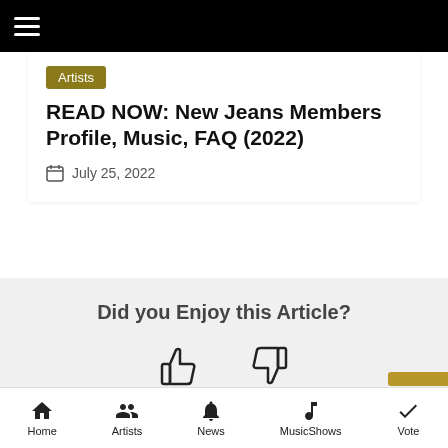Navigation bar with hamburger menu
Artists
READ NOW: New Jeans Members Profile, Music, FAQ (2022)
July 25, 2022
Did you Enjoy this Article?
[Figure (other): Thumbs up and thumbs down icons for article feedback]
Home | Artists | News | MusicShows | Vote